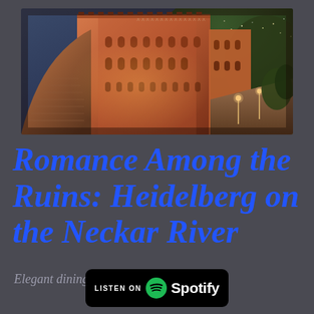[Figure (photo): Aerial night view of Heidelberg Castle ruins illuminated in warm orange-amber light, with curved stone stairs/ramp on the left, main castle facade with arched windows in center, courtyard to the right, and forested hillside with city lights in the background under a blue-grey twilight sky.]
Romance Among the Ruins: Heidelberg on the Neckar River
Elegant dining, Historic Restaurants
[Figure (logo): Listen on Spotify badge - black rounded rectangle with 'LISTEN ON' text and the Spotify logo (white circle with sound wave lines) followed by 'Spotify' in white text.]